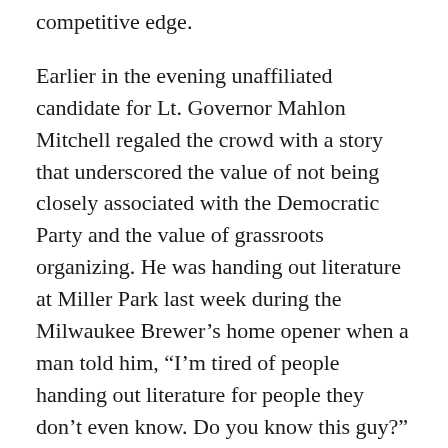competitive edge.
Earlier in the evening unaffiliated candidate for Lt. Governor Mahlon Mitchell regaled the crowd with a story that underscored the value of not being closely associated with the Democratic Party and the value of grassroots organizing. He was handing out literature at Miller Park last week during the Milwaukee Brewer’s home opener when a man told him, “I’m tired of people handing out literature for people they don’t even know. Do you know this guy?” When Mitchell informed him that he was the man on the flyer, the guy shook his hand and said, “I stand with Walker, but I’m going to vote for you for Lt. Governor because you’re handing out your own literature!”